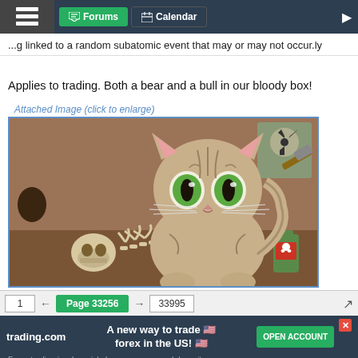Forums | Calendar
...g linked to a random subatomic event that may or may not occur.ly
Applies to trading. Both a bear and a bull in our bloody box!
Attached Image (click to enlarge)
[Figure (illustration): A painted illustration of a kitten with green eyes sitting in a brown box, next to a small skeleton (cat skull and ribcage), with a radioactive device and poison bottle in the background - a visual reference to Schrödinger's cat thought experiment.]
1  ←  Page 33256  →  33995
trading.com  A new way to trade forex in the US!  OPEN ACCOUNT  Forex trading involves risk. Losses can exceed deposits.